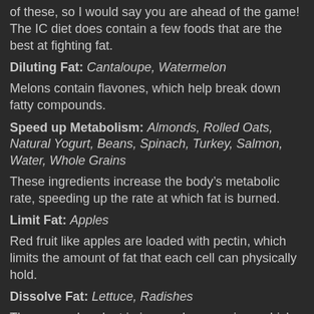of these, so I would say you are ahead of the game! The IC diet does contain a few foods that are the best at fighting fat.
Diluting Fat: Cantaloupe, Watermelon
Melons contain flavones, which help break down fatty compounds.
Speed up Metabolism: Almonds, Rolled Oats, Natural Yogurt, Beans, Spinach, Turkey, Salmon, Water, Whole Grains
These ingredients increase the body’s metabolic rate, speeding up the rate at which fat is burned.
Limit Fat: Apples
Red fruit like apples are loaded with pectin, which limits the amount of fat that each cell can physically hold.
Dissolve Fat: Lettuce, Radishes
These are abundant in iron and magnesium, which dissolve fat.